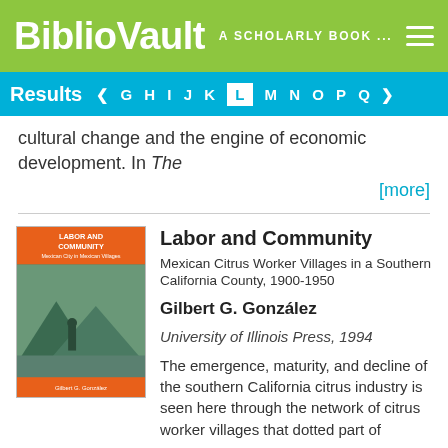BiblioVault  A SCHOLARLY BOOK ...
Results  < G H I J K L M N O P Q >
cultural change and the engine of economic development. In The
[more]
Labor and Community
Mexican Citrus Worker Villages in a Southern California County, 1900-1950
Gilbert G. González
University of Illinois Press, 1994
The emergence, maturity, and decline of the southern California citrus industry is seen here through the network of citrus worker villages that dotted part of